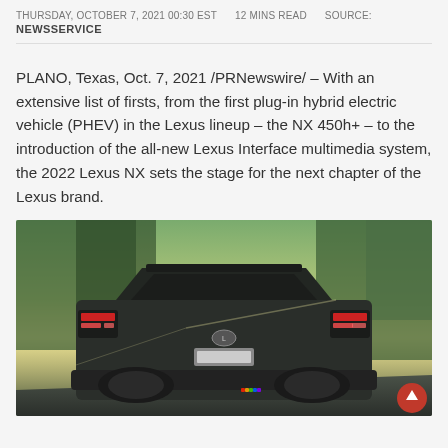THURSDAY, OCTOBER 7, 2021 00:30 EST    12 MINS READ    SOURCE: NEWSSERVICE
PLANO, Texas, Oct. 7, 2021 /PRNewswire/ – With an extensive list of firsts, from the first plug-in hybrid electric vehicle (PHEV) in the Lexus lineup – the NX 450h+ – to the introduction of the all-new Lexus Interface multimedia system, the 2022 Lexus NX sets the stage for the next chapter of the Lexus brand.
[Figure (photo): Rear view of a 2022 Lexus NX SUV driving on a road, shot from low angle with sunlight flaring behind the vehicle and blurred green trees in the background. A red circular scroll-up button is visible in the lower right corner.]